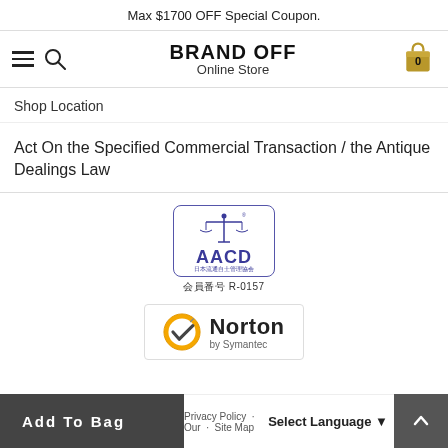Max $1700 OFF Special Coupon.
[Figure (logo): BRAND OFF Online Store navigation header with hamburger menu, search icon, logo, and cart icon showing 0 items]
Shop Location
Act On the Specified Commercial Transaction / the Antique Dealings Law
[Figure (logo): AACD Japanese Antique Dealers Association badge with scales logo, member number R-0157]
[Figure (logo): Norton by Symantec security badge with yellow checkmark]
Add To Bag  Privacy Policy  Our  Select Language  Site Map